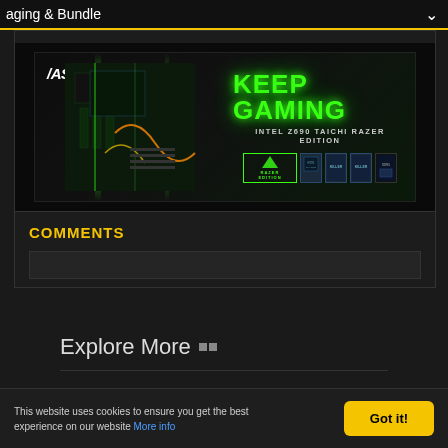aging & Bundle
[Figure (screenshot): ASRock advertisement banner for Intel Z690 TAICHI RAZER EDITION motherboard with green neon lighting, 'KEEP GAMING' text, and product icons]
COMMENTS
Explore More
Site Links
Social
This website uses cookies to ensure you get the best experience on our website More info
Got it!